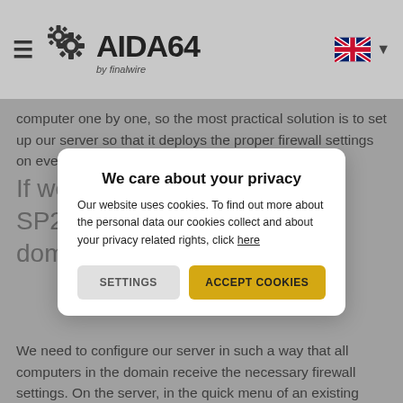AIDA64 by finalwire
computer one by one, so the most practical solution is to set up our server so that it deploys the proper firewall settings on every computer in the domain as they log on.
If we only have Windows XP SP2 or newer systems in our domain
We care about your privacy — modal dialog: Our website uses cookies. To find out more about the personal data our cookies collect and about your privacy related rights, click here. Buttons: SETTINGS, ACCEPT COOKIES
We need to configure our server in such a way that all computers in the domain receive the necessary firewall settings. On the server, in the quick menu of an existing GPO (or we can also create a new one) click Edit | Computer Configuration | Policies | Administrative Templates | Network | Network Connections | Windows firewall | Domain profile and search for Windows Firewall: Define inbound program exceptions, then click Enabled. Click OK and the following items on the...